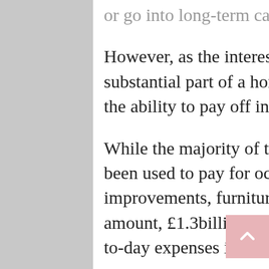or go into long-term care.
However, as the interest accumulates it can become a substantial part of a home's value and so some deals offer the ability to pay off interest to protect inheritances.
While the majority of the cash released, £1.9billion, has been used to pay for occasional big purchases such as home improvements, furniture or even a new car, a significant amount, £1.3billion, is being used to cover the cost of day-to-day expenses including food, clothes and transport.
The remaining equity, around £480million, is expected to be spent on